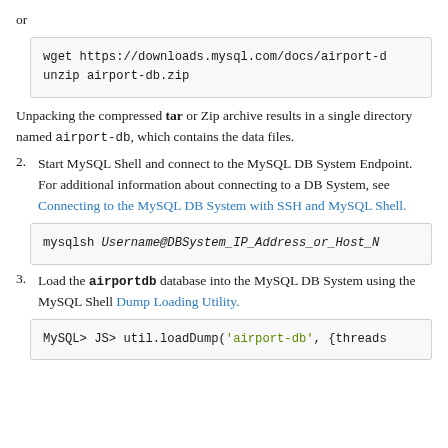or
wget https://downloads.mysql.com/docs/airport-d
unzip airport-db.zip
Unpacking the compressed tar or Zip archive results in a single directory named airport-db, which contains the data files.
2. Start MySQL Shell and connect to the MySQL DB System Endpoint. For additional information about connecting to a DB System, see Connecting to the MySQL DB System with SSH and MySQL Shell.
mysqlsh Username@DBSystem_IP_Address_or_Host_N…
3. Load the airportdb database into the MySQL DB System using the MySQL Shell Dump Loading Utility.
MySQL> JS> util.loadDump('airport-db', {threads…